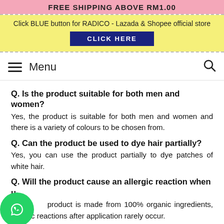FREE SHIPPING ABOVE RM1.00
Click BLUE button for RADICO - Lazada & Shopee official store
CLICK HERE
Menu
Q. Is the product suitable for both men and women?
Yes, the product is suitable for both men and women and there is a variety of colours to be chosen from.
Q. Can the product be used to dye hair partially?
Yes, you can use the product partially to dye patches of white hair.
Q. Will the product cause an allergic reaction when u...
as... product is made from 100% organic ingredients, allergic reactions after application rarely occur.